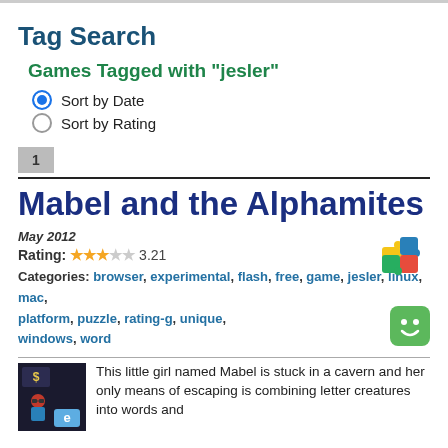Tag Search
Games Tagged with "jesler"
Sort by Date (selected)
Sort by Rating
1
Mabel and the Alphamites
May 2012
Rating: 3.21
Categories: browser, experimental, flash, free, game, jesler, linux, mac, platform, puzzle, rating-g, unique, windows, word
This little girl named Mabel is stuck in a cavern and her only means of escaping is combining letter creatures into words and